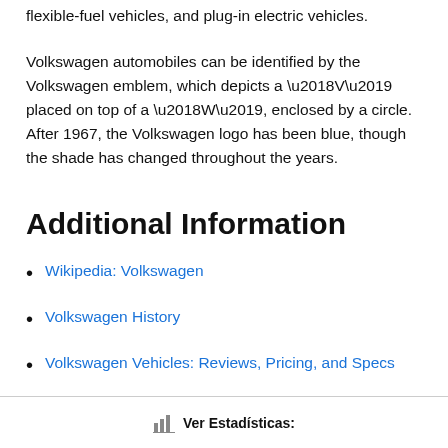flexible-fuel vehicles, and plug-in electric vehicles.
Volkswagen automobiles can be identified by the Volkswagen emblem, which depicts a ‘V’ placed on top of a ‘W’, enclosed by a circle. After 1967, the Volkswagen logo has been blue, though the shade has changed throughout the years.
Additional Information
Wikipedia: Volkswagen
Volkswagen History
Volkswagen Vehicles: Reviews, Pricing, and Specs
Ver Estadísticas: